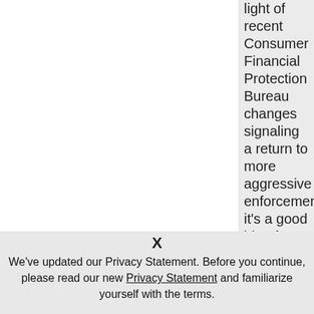light of recent Consumer Financial Protection Bureau changes signaling a return to more aggressive enforcement, it's a good idea for banks to review their unfair, deceptive or abusive acts or practices (UDAAP) ..
X
We've updated our Privacy Statement. Before you continue, please read our new Privacy Statement and familiarize yourself with the terms.